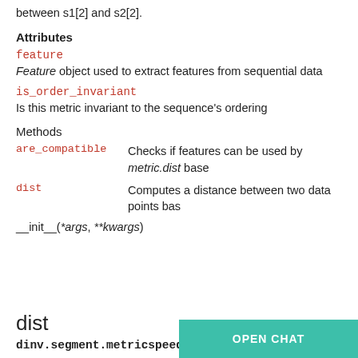between s1[2] and s2[2].
Attributes
feature
Feature object used to extract features from sequential data
is_order_invariant
Is this metric invariant to the sequence's ordering
Methods
are_compatible   Checks if features can be used by metric.dist base
dist             Computes a distance between two data points bas
__init__(*args, **kwargs)
dist
dinv.segment.metricspeed.dist()